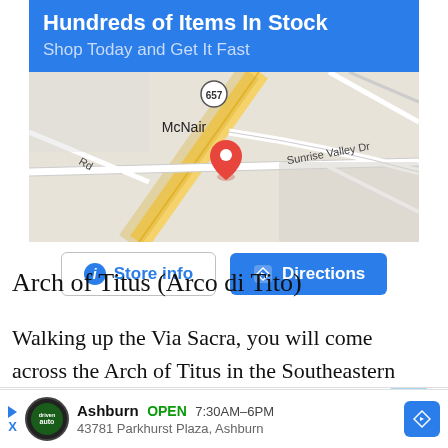[Figure (screenshot): Google Maps ad banner with blue header 'Hundreds of Items In Stock / Shop Today and Get It Fast', a map showing McNair area with route 657 and a red location pin near Sunrise Valley Dr, and two buttons: 'Store info' and 'Directions']
Arch of Titus (Arco di Tito)
Walking up the Via Sacra, you will come across the Arch of Titus in the Southeastern side of the Roman Forum.
[Figure (screenshot): Bottom ad bar: Driven Auto logo, play/close arrows, 'Ashburn OPEN 7:30AM-6PM 43781 Parkhurst Plaza, Ashburn', directions arrow button]